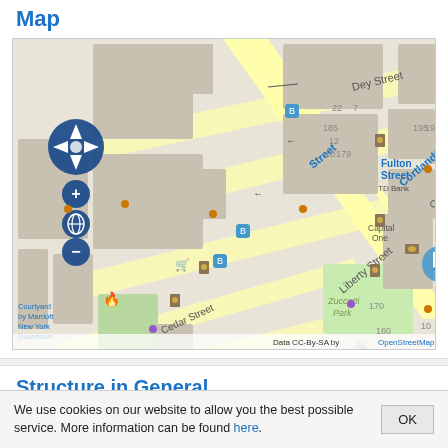Map
[Figure (map): OpenStreetMap street map centered on One Liberty Plaza, Lower Manhattan, New York. Shows Dey Street, Cortlandt Street, Liberty Street, Cedar Street, Thames Street, Fulton Street. Notable labels: Cortlandt Street, One Liberty Plaza, Zuccotti Park, Fulton Street, TD Bank, Capital One, Red Cube, Courtyard by Marriott New York Downtown Manhattan/World Trade Center Area. Map data CC-By-SA by OpenStreetMap.]
Structure in General
We use cookies on our website to allow you the best possible service. More information can be found here.